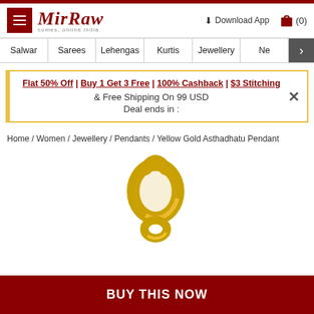Mirraw - comes, online india
Salwar | Sarees | Lehengas | Kurtis | Jewellery | Ne
Flat 50% Off | Buy 1 Get 3 Free | 100% Cashback | $3 Stitching & Free Shipping On 99 USD Deal ends in :
Home / Women / Jewellery / Pendants / Yellow Gold Asthadhatu Pendant
[Figure (photo): Yellow Gold Asthadhatu Pendant - a gold-colored pendant with interlocking rings against a white background]
BUY THIS NOW